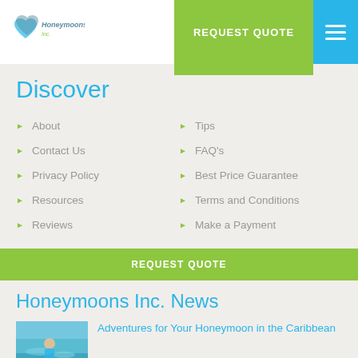Honeymoons Inc. logo, REQUEST QUOTE button, hamburger menu
Discover
About
Contact Us
Privacy Policy
Resources
Reviews
Tips
FAQ's
Best Price Guarantee
Terms and Conditions
Make a Payment
REQUEST QUOTE
Honeymoons Inc. News
[Figure (photo): Photo of person in blue water, honeymoon activity]
Adventures for Your Honeymoon in the Caribbean